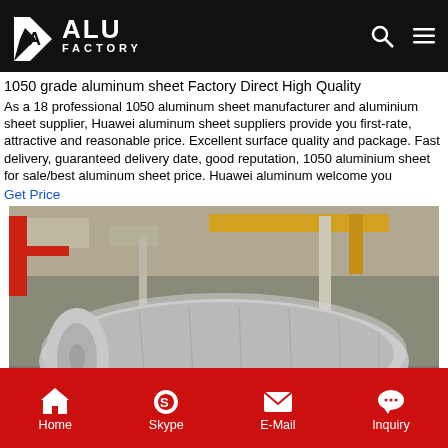ALU FACTORY
1050 grade aluminum sheet Factory Direct High Quality
As a 18 professional 1050 aluminum sheet manufacturer and aluminium sheet supplier, Huawei aluminum sheet suppliers provide you first-rate, attractive and reasonable price. Excellent surface quality and package. Fast delivery, guaranteed delivery date, good reputation, 1050 aluminium sheet for sale/best aluminum sheet price. Huawei aluminum welcome you
Get Price
[Figure (photo): Large aluminum coil/roll wrapped in protective plastic sheeting inside an industrial factory. Overhead yellow crane visible in background.]
Home  Skype  E-Mail  Inquiry